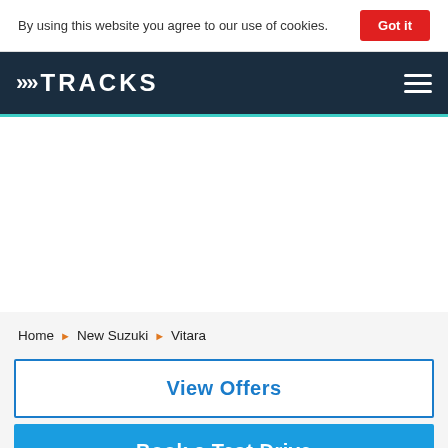By using this website you agree to our use of cookies. Got it
[Figure (logo): Tracks website logo with chevron icon and TRACKS wordmark on dark navy background with hamburger menu icon]
Home ▶ New Suzuki ▶ Vitara
View Offers
Book a Test Drive